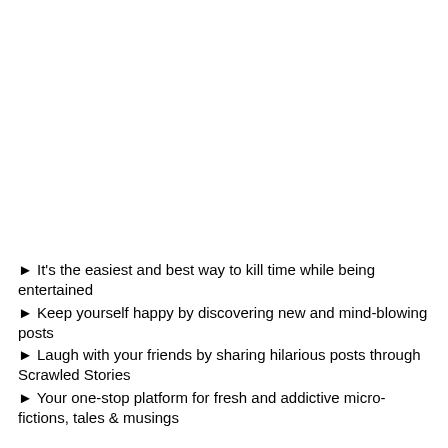► It's the easiest and best way to kill time while being entertained
► Keep yourself happy by discovering new and mind-blowing posts
► Laugh with your friends by sharing hilarious posts through Scrawled Stories
► Your one-stop platform for fresh and addictive micro-fictions, tales & musings